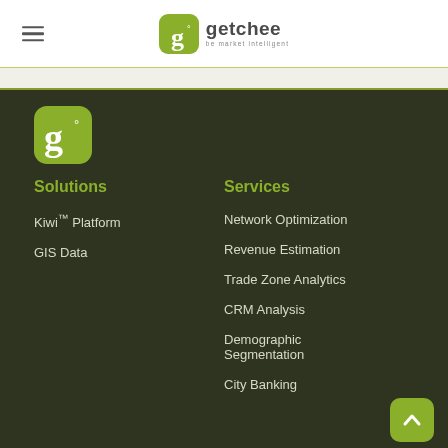[Figure (logo): Getchee logo with green rounded square icon containing lowercase g and degree symbol, and company name 'getchee' with tagline 'be market intelligent']
[Figure (logo): Getchee small icon logo in dark section — green rounded square with white g degree symbol]
Solutions
Services
Kiwi™ Platform
GIS Data
Network Optimization
Revenue Estimation
Trade Zone Analytics
CRM Analysis
Demographic Segmentation
City Banking